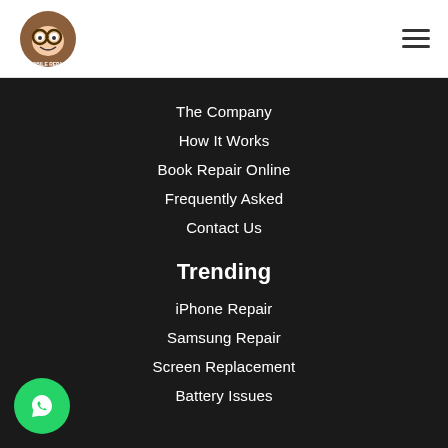[Figure (logo): Mobile Repair logo with cartoon character wearing glasses]
The Company
How It Works
Book Repair Online
Frequently Asked
Contact Us
Trending
iPhone Repair
Samsung Repair
Screen Replacement
Battery Issues
[Figure (logo): WhatsApp green circular button]